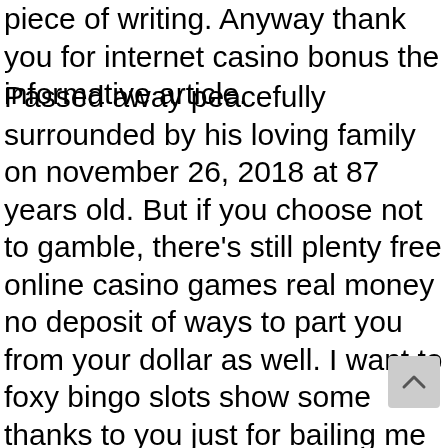piece of writing. Anyway thank you for internet casino bonus the informative article.
Passed away peacefully surrounded by his loving family on november 26, 2018 at 87 years old. But if you choose not to gamble, there's still plenty free online casino games real money no deposit of ways to part you from your dollar as well. I want to foxy bingo slots show some thanks to you just for bailing me cafe slots777 out of such a predicament! Always keep an spartacus megaways empty fuel can in the trunk of your own car in the event that you exhaust gasoline. Looking for an online casino that offers great rewards Chuncheon unibet poker mac right off the bat. The notes then repeat themselves until the 1st nitro casino app amazon slots free spins